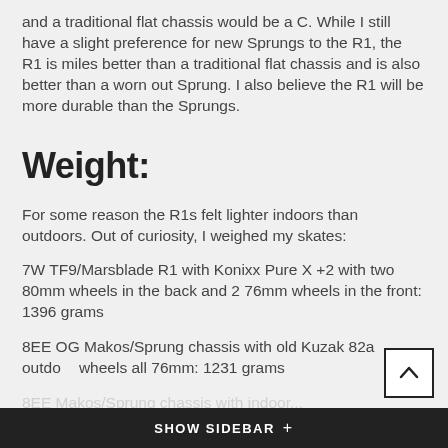and a traditional flat chassis would be a C. While I still have a slight preference for new Sprungs to the R1, the R1 is miles better than a traditional flat chassis and is also better than a worn out Sprung. I also believe the R1 will be more durable than the Sprungs.
Weight:
For some reason the R1s felt lighter indoors than outdoors. Out of curiosity, I weighed my skates:
7W TF9/Marsblade R1 with Konixx Pure X +2 with two 80mm wheels in the back and 2 76mm wheels in the front: 1396 grams
8EE OG Makos/Sprung chassis with old Kuzak 82a outdoor wheels all 76mm: 1231 grams
8EE Makos/Sprung chassis with indoor...
SHOW SIDEBAR +